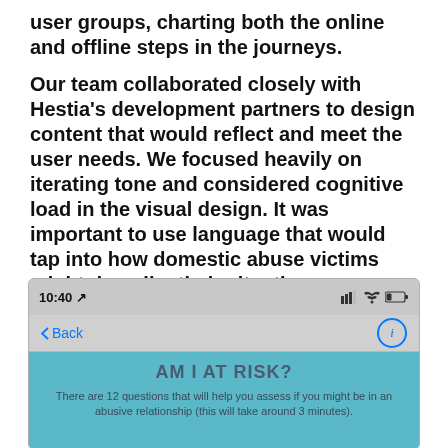user groups, charting both the online and offline steps in the journeys.
Our team collaborated closely with Hestia's development partners to design content that would reflect and meet the user needs. We focused heavily on iterating tone and considered cognitive load in the visual design. It was important to use language that would tap into how domestic abuse victims might describe their situations.
[Figure (screenshot): Mobile app screenshot showing a status bar with 10:40 time, signal and wifi icons, a navigation bar with Back button and info icon, and a teal/blue content area with heading 'AM I AT RISK?' and text 'There are 12 questions that will help you assess if you might be in an abusive relationship (this will take around 3 minutes).']